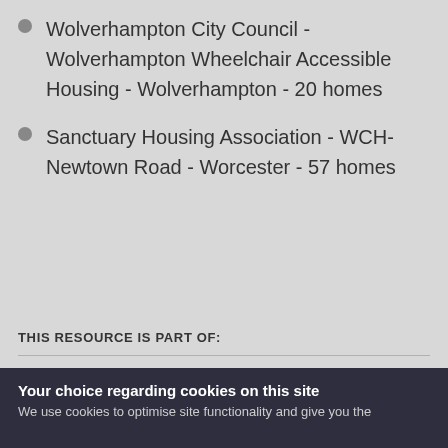Wolverhampton City Council - Wolverhampton Wheelchair Accessible Housing - Wolverhampton - 20 homes
Sanctuary Housing Association - WCH-Newtown Road - Worcester - 57 homes
THIS RESOURCE IS PART OF:
West Midlands Housing LIN
Your choice regarding cookies on this site
We use cookies to optimise site functionality and give you the